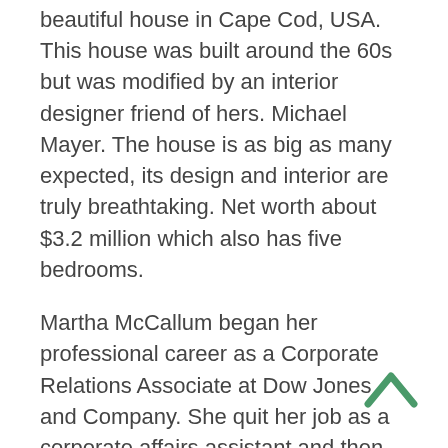beautiful house in Cape Cod, USA. This house was built around the 60s but was modified by an interior designer friend of hers. Michael Mayer. The house is as big as many expected, its design and interior are truly breathtaking. Net worth about $3.2 million which also has five bedrooms.
Martha McCallum began her professional career as a Corporate Relations Associate at Dow Jones and Company. She quit her job as a corporate affairs assistant and then began working as a reporter for Corporate Finance magazine. From 1991 to 1996, she worked for The Wall Street Journal Television, where she worked as a business news reporter and anchor for Wall Street J. Our Report, World Market Review, and Business USA.
Later, Martha got a job as an anchor and reporter for WBIS TV, which is a sports and business network